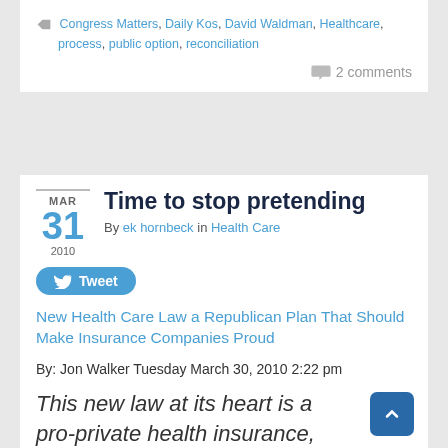Congress Matters, Daily Kos, David Waldman, Healthcare, process, public option, reconciliation
2 comments
Time to stop pretending
By ek hornbeck in Health Care
[Figure (other): Tweet button]
New Health Care Law a Republican Plan That Should Make Insurance Companies Proud
By: Jon Walker Tuesday March 30, 2010 2:22 pm
This new law at its heart is a pro-private health insurance, pro-big